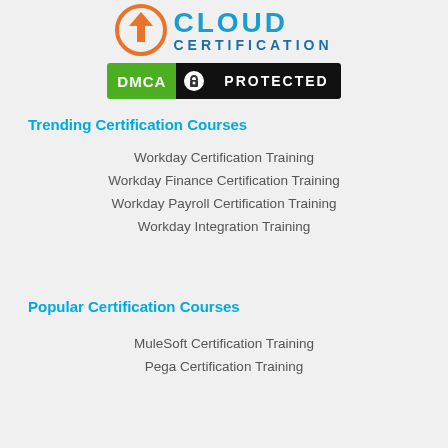[Figure (logo): Cloud Certification logo with orange circular arrow icon and blue text reading CLOUD CERTIFICATION]
[Figure (logo): DMCA Protected badge with green DMCA section, lock icon, and black PROTECTED section]
Trending Certification Courses
Workday Certification Training
Workday Finance Certification Training
Workday Payroll Certification Training
Workday Integration Training
Popular Certification Courses
MuleSoft Certification Training
Pega Certification Training